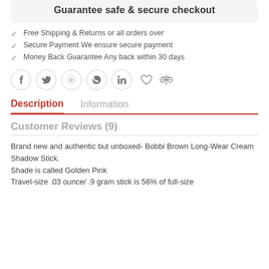Guarantee safe & secure checkout
Free Shipping & Returns or all orders over
Secure Payment We ensure secure payment
Money Back Guarantee Any back within 30 days
[Figure (infographic): Social media share icons: Facebook, Twitter, Pinterest, WhatsApp, LinkedIn (circular bordered), plus heart/wishlist and compare (scale) icons]
Description    Information
Customer Reviews (9)
Brand new and authentic but unboxed- Bobbi Brown Long-Wear Cream Shadow Stick.
Shade is called Golden Pink
Travel-size .03 ounce/ .9 gram stick is 56% of full-size